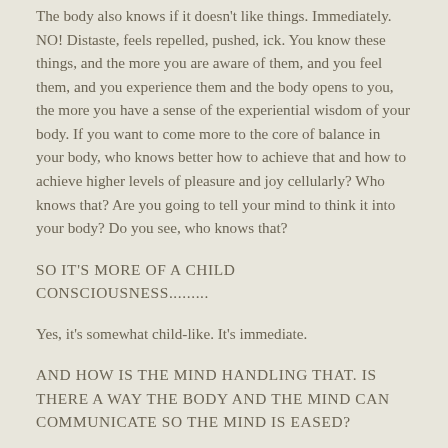The body also knows if it doesn't like things. Immediately. NO! Distaste, feels repelled, pushed, ick. You know these things, and the more you are aware of them, and you feel them, and you experience them and the body opens to you, the more you have a sense of the experiential wisdom of your body. If you want to come more to the core of balance in your body, who knows better how to achieve that and how to achieve higher levels of pleasure and joy cellularly? Who knows that? Are you going to tell your mind to think it into your body? Do you see, who knows that?
SO IT'S MORE OF A CHILD CONSCIOUSNESS.........
Yes, it's somewhat child-like. It's immediate.
AND HOW IS THE MIND HANDLING THAT. IS THERE A WAY THE BODY AND THE MIND CAN COMMUNICATE SO THE MIND IS EASED?